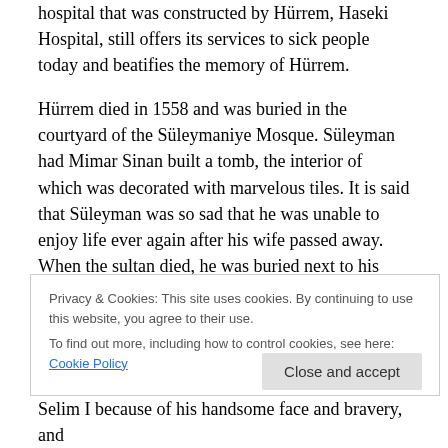hospital that was constructed by Hürrem, Haseki Hospital, still offers its services to sick people today and beatifies the memory of Hürrem.
Hürrem died in 1558 and was buried in the courtyard of the Süleymaniye Mosque. Süleyman had Mimar Sinan built a tomb, the interior of which was decorated with marvelous tiles. It is said that Süleyman was so sad that he was unable to enjoy life ever again after his wife passed away. When the sultan died, he was buried next to his wife.
Privacy & Cookies: This site uses cookies. By continuing to use this website, you agree to their use.
To find out more, including how to control cookies, see here: Cookie Policy
Close and accept
Selim I because of his handsome face and bravery, and